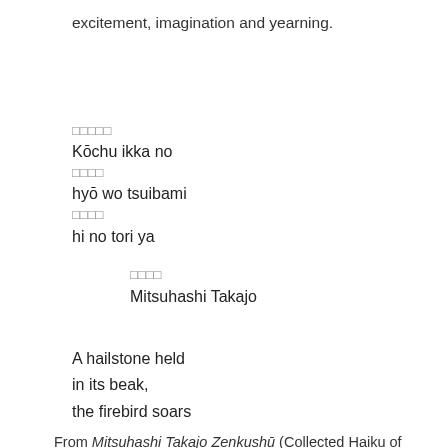excitement, imagination and yearning.
□□□□□
Kōchu ikka no
□□□□
hyō wo tsuibami
□□□□
hi no tori ya
□□□□
Mitsuhashi Takajo
A hailstone held
in its beak,
the firebird soars
From Mitsuhashi Takajo Zenkushū (Collected Haiku of Mitsuhash... Where is the firebird flying? It flies in the poet's heart. And it hold...